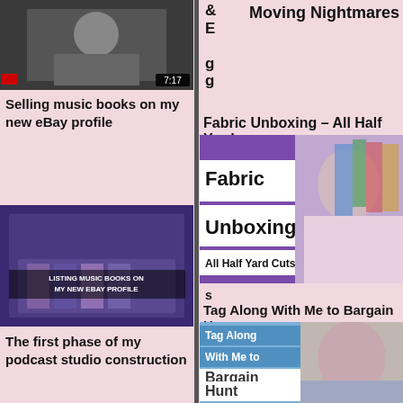[Figure (screenshot): Video thumbnail showing a man with a timer badge 7:17]
Selling music books on my new eBay profile
[Figure (screenshot): Thumbnail: Listing music books on my new eBay profile]
The first phase of my podcast studio construction
[Figure (screenshot): Studio Tour Phase 1 thumbnail]
& E g g Moving Nightmares
Fabric Unboxing – All Half Yard
[Figure (screenshot): Fabric Unboxing All Half Yard Cuts thumbnail with woman holding fabric]
s
Tag Along With Me to Bargain H
[Figure (screenshot): Tag Along With Me to Bargain Hunt thumbnail with woman in car]